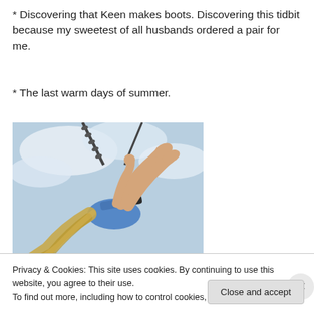* Discovering that Keen makes boots. Discovering this tidbit because my sweetest of all husbands ordered a pair for me.
* The last warm days of summer.
[Figure (photo): Child on a swing photographed from below, showing bare feet against a bright cloudy sky, long blonde hair, wearing a blue top]
Privacy & Cookies: This site uses cookies. By continuing to use this website, you agree to their use.
To find out more, including how to control cookies, see here: Cookie Policy